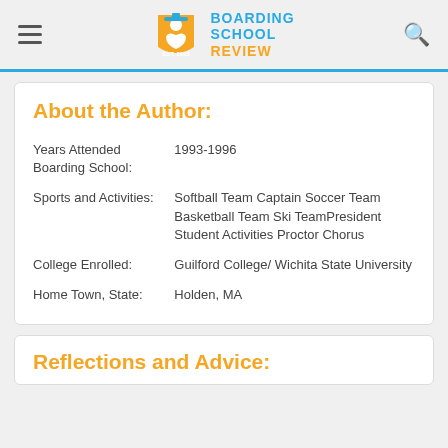Boarding School Review
About the Author:
| Field | Value |
| --- | --- |
| Years Attended Boarding School: | 1993-1996 |
| Sports and Activities: | Softball Team Captain Soccer Team Basketball Team Ski TeamPresident Student Activities Proctor Chorus |
| College Enrolled: | Guilford College/ Wichita State University |
| Home Town, State: | Holden, MA |
Reflections and Advice: